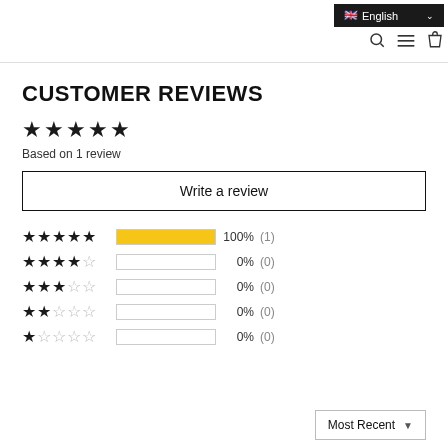🇬🇧 English  ∨
CUSTOMER REVIEWS
★★★★★ Based on 1 review
Write a review
[Figure (bar-chart): Rating distribution]
Most Recent ▼